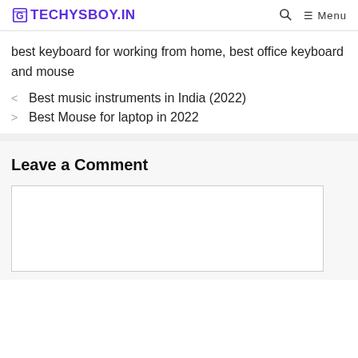GTECHYSBOY.IN  🔍  ☰ Menu
best keyboard for working from home, best office keyboard and mouse
< Best music instruments in India (2022)
> Best Mouse for laptop in 2022
Leave a Comment